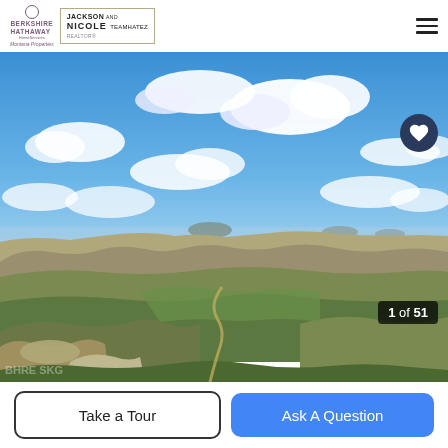[Figure (logo): Berkshire Hathaway HomeServices Montana Properties logo with agent branding for Jackson and Nicole]
[Figure (photo): Scenic Montana landscape with rolling badlands, green valley, dirt road winding through hills, and blue sky with white clouds. Photo counter shows 1 of 51.]
Take a Tour
Ask A Question